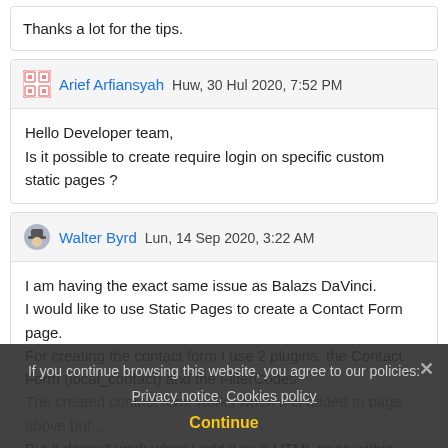Thanks a lot for the tips.
Arief Arfiansyah  Huw, 30 Hul 2020, 7:52 PM
Hello Developer team,
Is it possible to create require login on specific custom static pages ?
Walter Byrd  Lun, 14 Sep 2020, 3:22 AM
I am having the exact same issue as Balazs DaVinci.
I would like to use Static Pages to create a Contact Form page.
For creating the contact form I use 2 plugins, the Contact Form (local_contact) and the FilterCodes
The created contact form works when it is added to page above but...
But it doens't work when I add it as a HTML page within Static Pages.
If you continue browsing this website, you agree to our policies: Privacy notice, Cookies policy
Continue